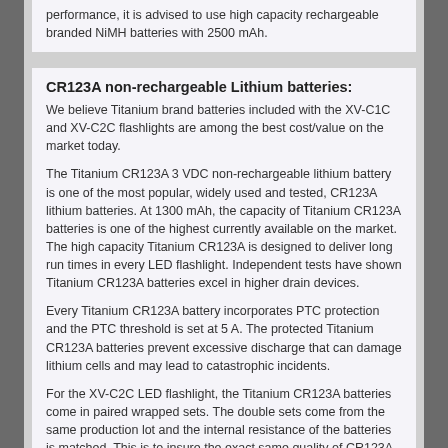performance, it is advised to use high capacity rechargeable branded NiMH batteries with 2500 mAh.
CR123A non-rechargeable Lithium batteries:
We believe Titanium brand batteries included with the XV-C1C and XV-C2C flashlights are among the best cost/value on the market today.
The Titanium CR123A 3 VDC non-rechargeable lithium battery is one of the most popular, widely used and tested, CR123A lithium batteries. At 1300 mAh, the capacity of Titanium CR123A batteries is one of the highest currently available on the market. The high capacity Titanium CR123A is designed to deliver long run times in every LED flashlight. Independent tests have shown Titanium CR123A batteries excel in higher drain devices.
Every Titanium CR123A battery incorporates PTC protection and the PTC threshold is set at 5 A. The protected Titanium CR123A batteries prevent excessive discharge that can damage lithium cells and may lead to catastrophic incidents.
For the XV-C2C LED flashlight, the Titanium CR123A batteries come in paired wrapped sets. The double sets come from the same production lot and the internal resistance of the batteries is matched. This is to insure the exact same quality of CR123A is used in the XV-C2C with the pair of CR123A batteries. The paired Titanium CR123A battery sets will prevent new and old batteries from being mixed up and used in the same device - a potential hazard.
Where to buy batteries:
(just to mention a few, AA or CR123A) Walmart, Target, SAM's Club, Costco , Home Depot, Lowe's, ....